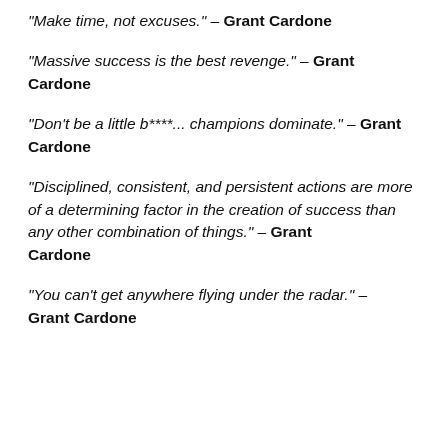“Make time, not excuses.” – Grant Cardone
“Massive success is the best revenge.” – Grant Cardone
“Don’t be a little b****... champions dominate.” – Grant Cardone
“Disciplined, consistent, and persistent actions are more of a determining factor in the creation of success than any other combination of things.” – Grant Cardone
“You can’t get anywhere flying under the radar.” – Grant Cardone